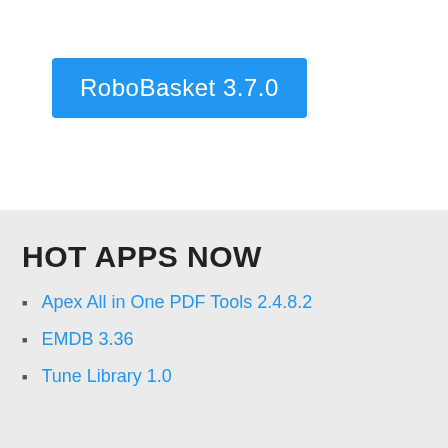RoboBasket 3.7.0
HOT APPS NOW
Apex All in One PDF Tools 2.4.8.2
EMDB 3.36
Tune Library 1.0